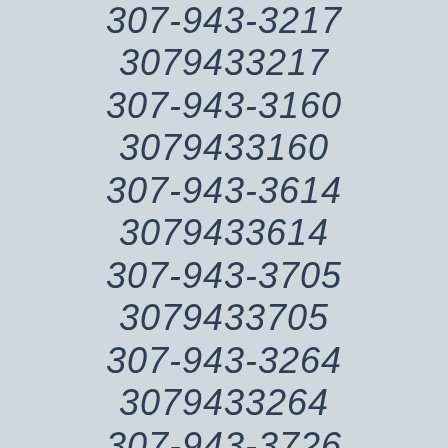307-943-3217
3079433217
307-943-3160
3079433160
307-943-3614
3079433614
307-943-3705
3079433705
307-943-3264
3079433264
307-943-3726
3079433726
307-943-3353
3079433353
307-943-3249
3079433249